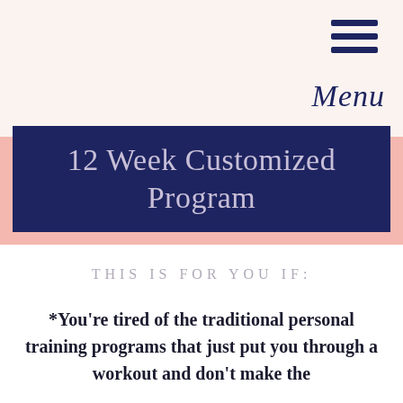[Figure (other): Hamburger menu icon with three horizontal navy bars and italic script 'Menu' label below]
12 Week Customized Program
THIS IS FOR YOU IF:
*You're tired of the traditional personal training programs that just put you through a workout and don't make the